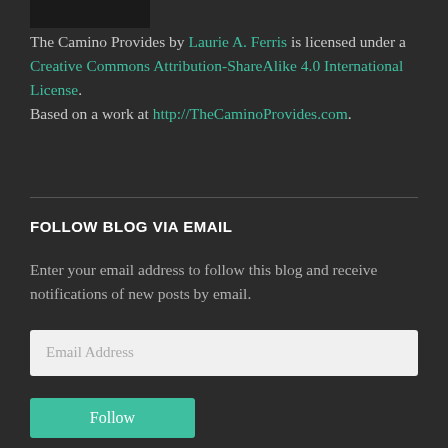[Figure (other): Small dark rectangular image/logo at top]
The Camino Provides by Laurie A. Ferris is licensed under a Creative Commons Attribution-ShareAlike 4.0 International License. Based on a work at http://TheCaminoProvides.com.
FOLLOW BLOG VIA EMAIL
Enter your email address to follow this blog and receive notifications of new posts by email.
Email Address
Follow
Join 2,846 other followers